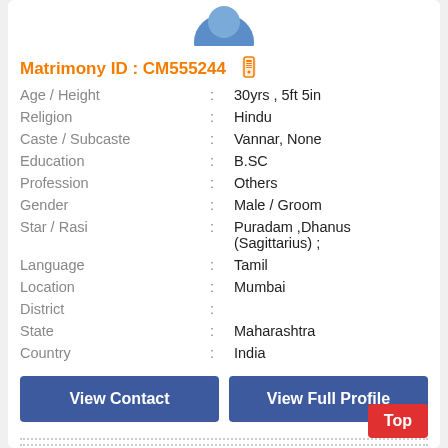[Figure (illustration): Partial profile avatar image at top of card (blue silhouette, cropped)]
Matrimony ID : CM555244 (phone icon)
Age / Height : 30yrs , 5ft 5in
Religion : Hindu
Caste / Subcaste : Vannar, None
Education : B.SC
Profession : Others
Gender : Male / Groom
Star / Rasi : Puradam ,Dhanus (Sagittarius) ;
Language : Tamil
Location : Mumbai
District :
State : Maharashtra
Country : India
View Contact
View Full Profile
[Figure (illustration): Partial profile avatar image at bottom of card (blue silhouette, cropped at bottom of page)]
Top